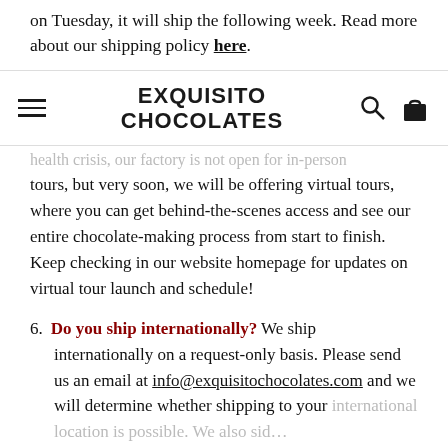on Tuesday, it will ship the following week. Read more about our shipping policy here.
EXQUISITO CHOCOLATES
health crisis, our factory is not open for in-person tours, but very soon, we will be offering virtual tours, where you can get behind-the-scenes access and see our entire chocolate-making process from start to finish. Keep checking in our website homepage for updates on virtual tour launch and schedule!
6. Do you ship internationally? We ship internationally on a request-only basis. Please send us an email at info@exquisitochocolates.com and we will determine whether shipping to your international location is possible. We also side...